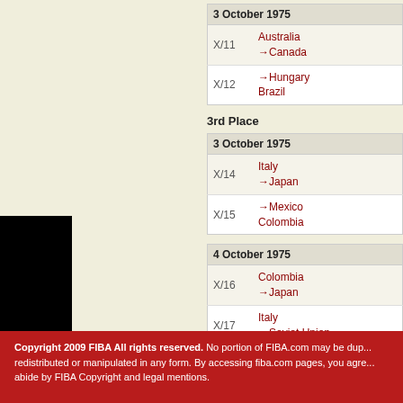| 3 October 1975 |  |
| --- | --- |
| X/11 | Australia
→Canada |
| X/12 | →Hungary
Brazil |
3rd Place
| 3 October 1975 |  |
| --- | --- |
| X/14 | Italy
→Japan |
| X/15 | →Mexico
Colombia |
| 4 October 1975 |  |
| --- | --- |
| X/16 | Colombia
→Japan |
| X/17 | Italy
→Soviet Union |
| X/18 | Mexico
→Czechoslovakia |
Copyright 2009 FIBA All rights reserved. No portion of FIBA.com may be duplicated, redistributed or manipulated in any form. By accessing fiba.com pages, you agree to abide by FIBA Copyright and legal mentions.